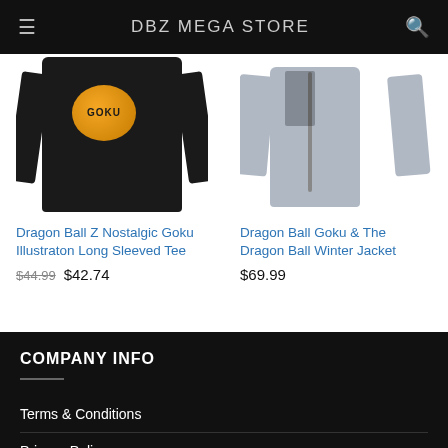DBZ MEGA STORE
[Figure (photo): Black Dragon Ball Z Nostalgic Goku Illustraton Long Sleeved Tee product image on white background]
Dragon Ball Z Nostalgic Goku Illustraton Long Sleeved Tee
$44.99  $42.74
[Figure (photo): Grey Dragon Ball Goku & The Dragon Ball Winter Jacket product image on white background]
Dragon Ball Goku & The Dragon Ball Winter Jacket
$69.99
COMPANY INFO
Terms & Conditions
Privacy Policy
Blog